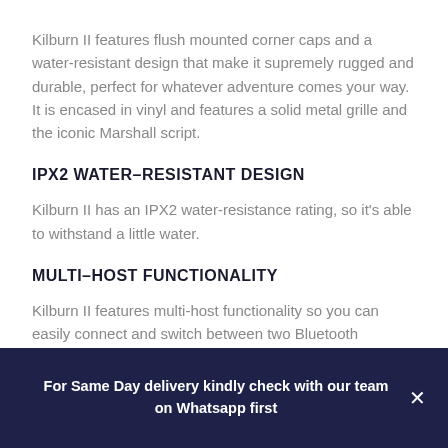Kilburn II features flush mounted corner caps and a water-resistant design that make it supremely rugged and durable, perfect for whatever adventure comes your way. It is encased in vinyl and features a solid metal grille and the iconic Marshall script.
IPX2 WATER-RESISTANT DESIGN
Kilburn II has an IPX2 water-resistance rating, so it's able to withstand a little water.
MULTI-HOST FUNCTIONALITY
Kilburn II features multi-host functionality so you can easily connect and switch between two Bluetooth devices. Now you and a friend take turns playing what you want to hear.
For Same Day delivery kindly check with our team on Whatsapp first